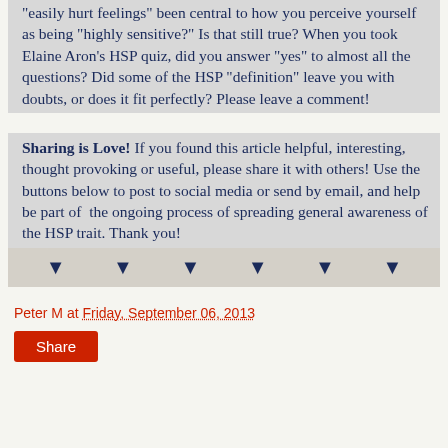"easily hurt feelings" been central to how you perceive yourself as being "highly sensitive?" Is that still true? When you took Elaine Aron's HSP quiz, did you answer "yes" to almost all the questions? Did some of the HSP "definition" leave you with doubts, or does it fit perfectly? Please leave a comment!
Sharing is Love! If you found this article helpful, interesting, thought provoking or useful, please share it with others! Use the buttons below to post to social media or send by email, and help be part of  the ongoing process of spreading general awareness of the HSP trait. Thank you!
[Figure (other): A row of six downward-pointing triangles (social share buttons) on a light tan/grey background bar]
Peter M at Friday, September 06, 2013
Share